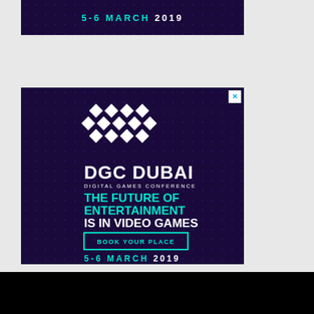[Figure (other): DGC Dubai Digital Games Conference advertisement banner (top partial) showing '5-6 MARCH 2019' on dark purple dotted background]
[Figure (other): DGC Dubai Digital Games Conference full advertisement: diamond logo pattern, 'DGC DUBAI' branding, 'DIGITAL GAMES CONFERENCE', 'THE FUTURE OF ENTERTAINMENT IS IN VIDEO GAMES', 'BOOK YOUR PLACE' CTA button, '5-6 MARCH 2019' date, with close X button, on dark purple dotted background]